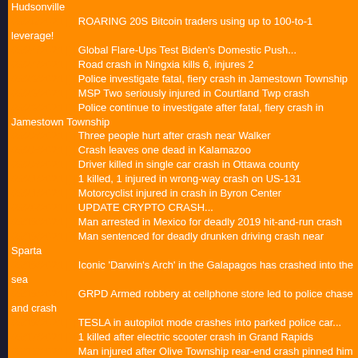Hudsonville
05/25/2021 [-] ROARING 20S Bitcoin traders using up to 100-to-1 leverage!
05/24/2021 [-] Global Flare-Ups Test Biden's Domestic Push...
05/24/2021 [-] Road crash in Ningxia kills 6, injures 2
05/23/2021 [-] Police investigate fatal, fiery crash in Jamestown Township
05/23/2021 [-] MSP Two seriously injured in Courtland Twp crash
05/23/2021 [-] Police continue to investigate after fatal, fiery crash in Jamestown Township
05/22/2021 [-] Three people hurt after crash near Walker
05/22/2021 [-] Crash leaves one dead in Kalamazoo
05/22/2021 [-] Driver killed in single car crash in Ottawa county
05/21/2021 [-] 1 killed, 1 injured in wrong-way crash on US-131
05/21/2021 [-] Motorcyclist injured in crash in Byron Center
05/20/2021 [-] UPDATE CRYPTO CRASH...
05/19/2021 [-] Man arrested in Mexico for deadly 2019 hit-and-run crash
05/19/2021 [-] Man sentenced for deadly drunken driving crash near Sparta
05/19/2021 [-] Iconic 'Darwin's Arch' in the Galapagos has crashed into the sea
05/19/2021 [-] GRPD Armed robbery at cellphone store led to police chase and crash
05/19/2021 [-] TESLA in autopilot mode crashes into parked police car...
05/17/2021 [-] 1 killed after electric scooter crash in Grand Rapids
05/16/2021 [-] Man injured after Olive Township rear-end crash pinned him in his car
05/16/2021 [-] Driver in critical condition after crash near Holland